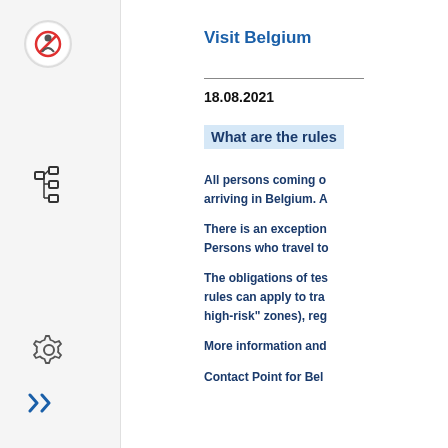Visit Belgium
18.08.2021
What are the rules
All persons coming o arriving in Belgium. A
There is an exception Persons who travel to
The obligations of tes rules can apply to tra high-risk" zones), reg
More information and
Contact Point for Bel